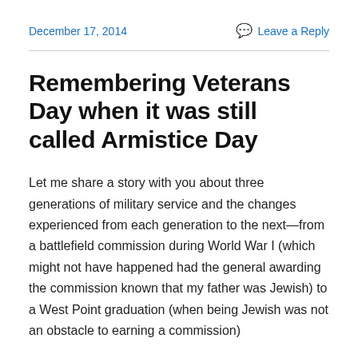December 17, 2014
Leave a Reply
Remembering Veterans Day when it was still called Armistice Day
Let me share a story with you about three generations of military service and the changes experienced from each generation to the next—from a battlefield commission during World War I (which might not have happened had the general awarding the commission known that my father was Jewish) to a West Point graduation (when being Jewish was not an obstacle to earning a commission)